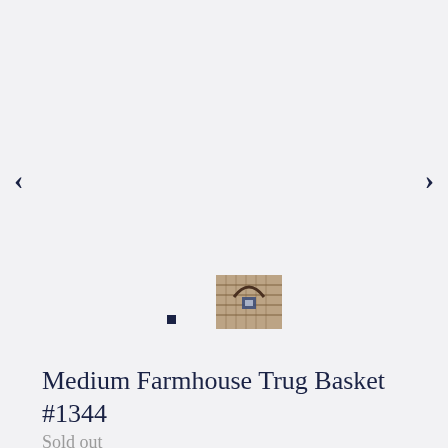[Figure (photo): Thumbnail image of Medium Farmhouse Trug Basket, a woven basket product shot on white background]
Medium Farmhouse Trug Basket #1344
Sold out
Shipping calculated at checkout.